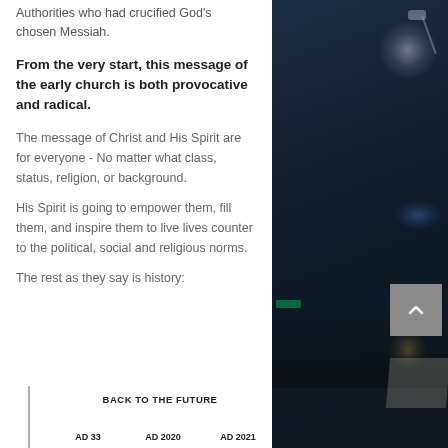Authorities who had crucified God's chosen Messiah.
From the very start, this message of the early church is both provocative and radical.
The message of Christ and His Spirit are for everyone - No matter what class, status, religion, or background.
His Spirit is going to empower them, fill them, and inspire them to live lives counter to the political, social and religious norms.
The rest as they say is history:
[Figure (other): Dark photo of a church/conference stage with dramatic stage lighting, audience visible in lower right]
BACK TO THE FUTURE
AD 33   AD 2020   AD 2021